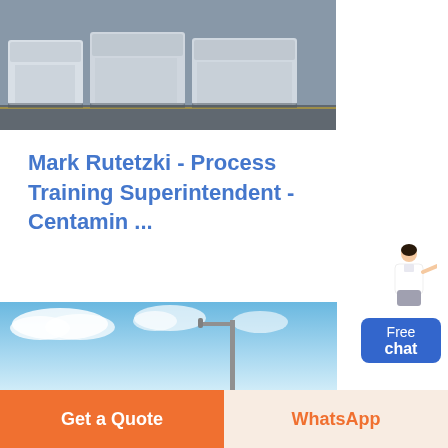[Figure (photo): Industrial equipment/machinery in a warehouse or factory floor, showing large white industrial units on a grey floor]
Mark Rutetzki - Process Training Superintendent - Centamin ...
Kirkland Lake Gold (Macassa Mine) Capably performed all mill operations and involved in start-up of Macassa's new CIP (Carbon-In-Pulp) Mill, specifically as
[Figure (photo): Blue sky with clouds and a utility pole or industrial pole/arm structure visible]
[Figure (illustration): Free chat widget showing a woman figure and a blue button with 'Free chat' text]
Get a Quote
WhatsApp